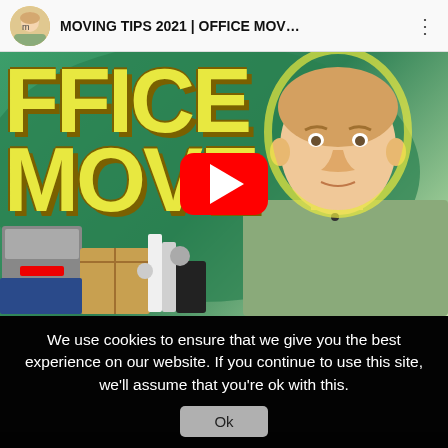[Figure (screenshot): YouTube video thumbnail showing a person next to large yellow text reading 'FFICE MOVE' on a green background, with office boxes, and a red YouTube play button overlay. The video title in the header reads 'MOVING TIPS 2021 | OFFICE MOV...']
We use cookies to ensure that we give you the best experience on our website. If you continue to use this site, we'll assume that you're ok with this.
Ok